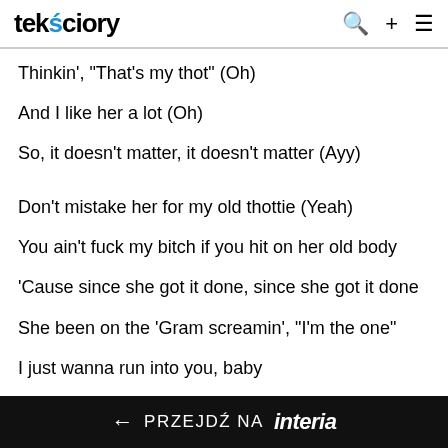tekściory
Thinkin', "That's my thot" (Oh)
And I like her a lot (Oh)
So, it doesn't matter, it doesn't matter (Ayy)
Don't mistake her for my old thottie (Yeah)
You ain't fuck my bitch if you hit on her old body
'Cause since she got it done, since she got it done
She been on the 'Gram screamin', "I'm the one"
I just wanna run into you, baby
I'm the one that's layin' skin to skin with you, baby
I'm the same nigga that get it in with you, baby
Spin through you, baby
← PRZEJDŹ NA interia